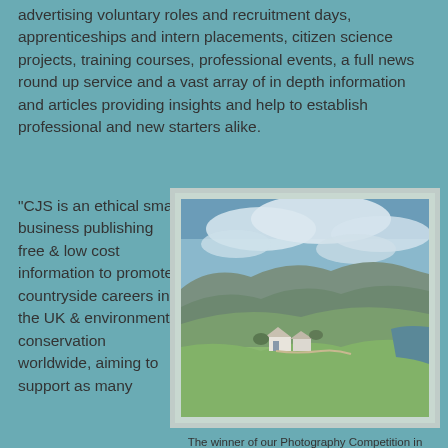advertising voluntary roles and recruitment days, apprenticeships and intern placements, citizen science projects, training courses, professional events, a full news round up service and a vast array of in depth information and articles providing insights and help to establish professional and new starters alike.
"CJS is an ethical small business publishing free & low cost information to promote countryside careers in the UK & environmental conservation worldwide, aiming to support as many
[Figure (photo): Landscape photo of a bothy (small white cottage) in a green valley with hills and clouds, the Bothy at Harris on Isle of Rum, taken by Isabelle Miles whilst volunteering.]
The winner of our Photography Competition in August is this lovely image of the Bothy at Harris on Isle of Rum taken by Isabelle Miles whilst volunteering. The grassland at Harris glens kept grazed by highland cattle, rum ponies and feral goats